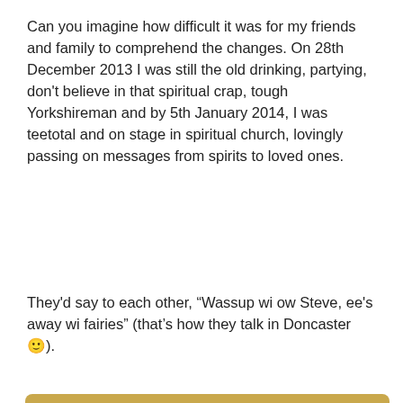Can you imagine how difficult it was for my friends and family to comprehend the changes. On 28th December 2013 I was still the old drinking, partying, don't believe in that spiritual crap, tough Yorkshireman and by 5th January 2014, I was teetotal and on stage in spiritual church, lovingly passing on messages from spirits to loved ones.
They'd say to each other, "Wassup wi ow Steve, ee's away wi fairies" (that's how they talk in Doncaster 🙂).
1st Spirit guide actually turned up in 1968...
I found out at this point that I have a spirit guide called Anne who had been with me since 4th April 1968, she came in to save me that day when I was hit by crossing the road.
[Figure (illustration): A small card/icon showing a purple triangle (play button) on a light background with a pink/red border, labeled 'spirit' underneath]